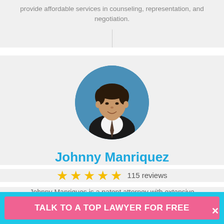provide affordable services in counseling, representation, and negotiation.
[Figure (photo): Circular headshot photo of Johnny Manriquez, a man in a dark suit and tie, smiling, against a blue background]
Johnny Manriquez
115 reviews
Johnny Manriques is a patent attorney with extensive experience in dealing with cases that involves intellectual property law and related legal matters. He has more than 14
TALK TO A TOP LAWYER FOR FREE